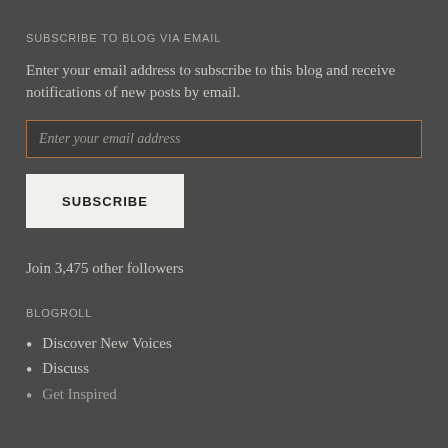SUBSCRIBE TO BLOG VIA EMAIL
Enter your email address to subscribe to this blog and receive notifications of new posts by email.
Enter your email address
SUBSCRIBE
Join 3,475 other followers
BLOGROLL
Discover New Voices
Discuss
Get Inspired